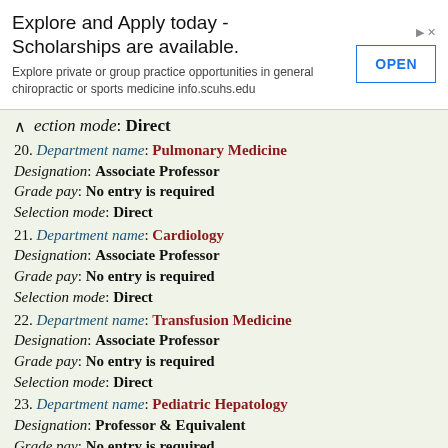[Figure (other): Advertisement banner: Explore and Apply today - Scholarships are available. Explore private or group practice opportunities in general chiropractic or sports medicine info.scuhs.edu. OPEN button.]
Selection mode: Direct
20. Department name: Pulmonary Medicine Designation: Associate Professor Grade pay: No entry is required Selection mode: Direct
21. Department name: Cardiology Designation: Associate Professor Grade pay: No entry is required Selection mode: Direct
22. Department name: Transfusion Medicine Designation: Associate Professor Grade pay: No entry is required Selection mode: Direct
23. Department name: Pediatric Hepatology Designation: Professor & Equivalent Grade pay: No entry is required Selection mode: Direct
24. Department name: Pediatric Hepatology Designation: Associate Professor Grade pay: No entry is required